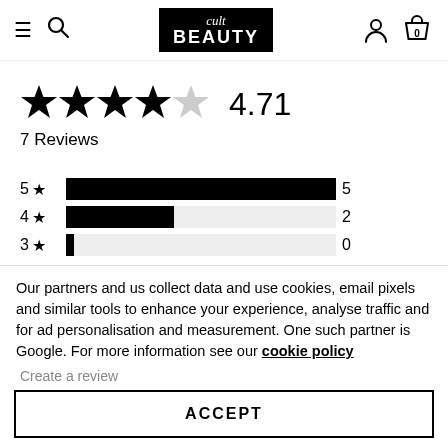[Figure (screenshot): Cult Beauty website header with hamburger menu, search icon, Cult Beauty logo (black box with white text), user account icon, and shopping cart icon showing 0 items]
[Figure (other): Star rating display showing 4.5 filled stars and rating of 4.71]
7 Reviews
[Figure (bar-chart): Rating distribution]
Our partners and us collect data and use cookies, email pixels and similar tools to enhance your experience, analyse traffic and for ad personalisation and measurement. One such partner is Google. For more information see our cookie policy
Create a review
ACCEPT